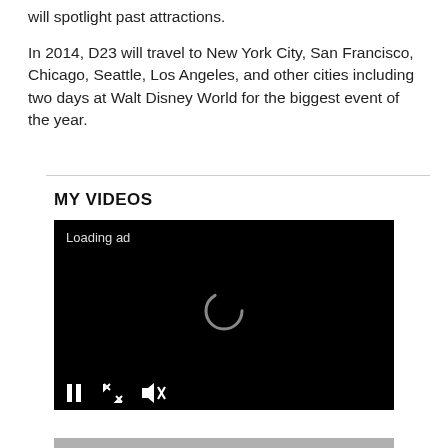will spotlight past attractions.
In 2014, D23 will travel to New York City, San Francisco, Chicago, Seattle, Los Angeles, and other cities including two days at Walt Disney World for the biggest event of the year.
MY VIDEOS
[Figure (screenshot): Video player showing a black screen with 'Loading ad' text in the upper left, a circular loading spinner in the center, and playback controls (pause, expand, mute) at the bottom. A gray scrub bar is at the very bottom.]